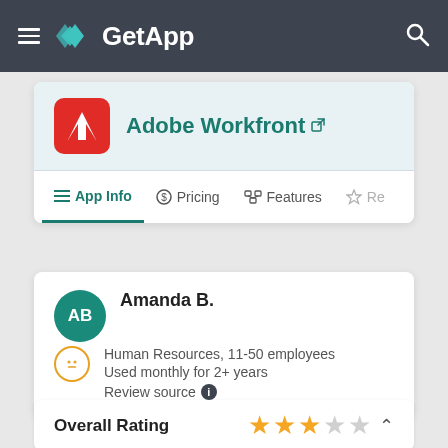GetApp
Adobe Workfront
App Info | Pricing | Features | Re
Amanda B.
Human Resources, 11-50 employees
Used monthly for 2+ years
Review source
Overall Rating ★★★☆☆